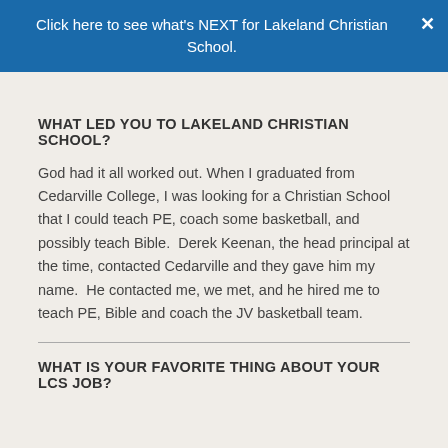Click here to see what's NEXT for Lakeland Christian School.
WHAT LED YOU TO LAKELAND CHRISTIAN SCHOOL?
God had it all worked out. When I graduated from Cedarville College, I was looking for a Christian School that I could teach PE, coach some basketball, and possibly teach Bible.  Derek Keenan, the head principal at the time, contacted Cedarville and they gave him my name.  He contacted me, we met, and he hired me to teach PE, Bible and coach the JV basketball team.
WHAT IS YOUR FAVORITE THING ABOUT YOUR LCS JOB?